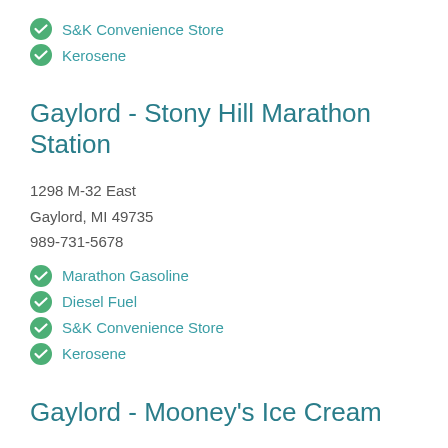S&K Convenience Store
Kerosene
Gaylord - Stony Hill Marathon Station
1298 M-32 East
Gaylord, MI 49735
989-731-5678
Marathon Gasoline
Diesel Fuel
S&K Convenience Store
Kerosene
Gaylord - Mooney's Ice Cream
605 S. Otsego Ave.
Gaylord, MI 49735